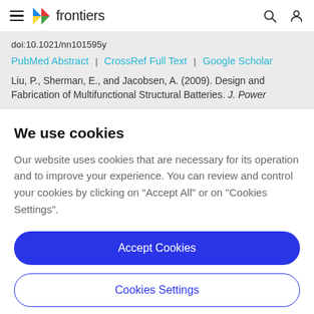≡  frontiers
doi:10.1021/nn101595y
PubMed Abstract | CrossRef Full Text | Google Scholar
Liu, P., Sherman, E., and Jacobsen, A. (2009). Design and Fabrication of Multifunctional Structural Batteries. J. Power
We use cookies
Our website uses cookies that are necessary for its operation and to improve your experience. You can review and control your cookies by clicking on "Accept All" or on "Cookies Settings".
Accept Cookies
Cookies Settings